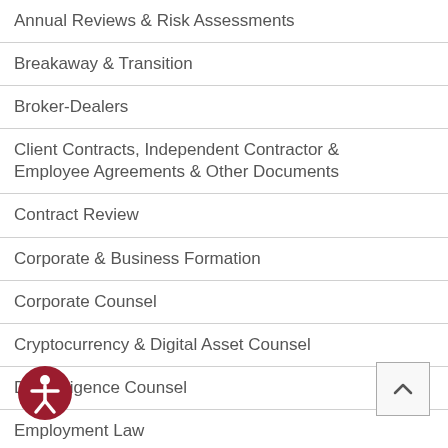Annual Reviews & Risk Assessments
Breakaway & Transition
Broker-Dealers
Client Contracts, Independent Contractor & Employee Agreements & Other Documents
Contract Review
Corporate & Business Formation
Corporate Counsel
Cryptocurrency & Digital Asset Counsel
Due Diligence Counsel
Employment Law
ings & Registrations
FINRA Broker-Dealer Regulatory Counsel